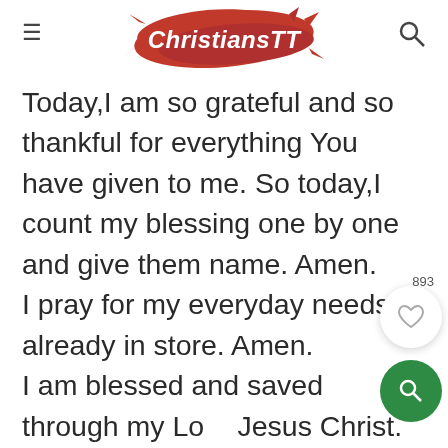ChristiansTT
Today,I am so grateful and so thankful for everything You have given to me. So today,I count my blessing one by one and give them name. Amen.
I pray for my everyday needs is already in store. Amen.
I am blessed and saved through my Lord Jesus Christ.
Hallelujah.
In Jesus mighty name I pray
Amen and Amen.